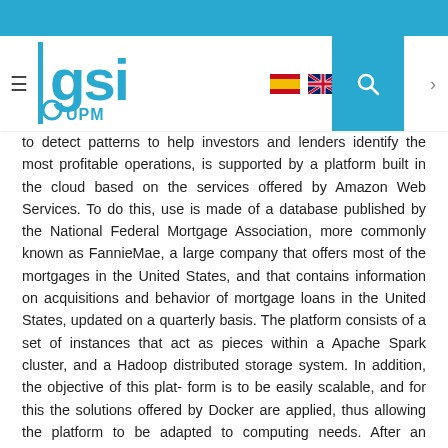GSI UPM website header navigation bar
to detect patterns to help investors and lenders identify the most profitable operations, is supported by a platform built in the cloud based on the services offered by Amazon Web Services. To do this, use is made of a database published by the National Federal Mortgage Association, more commonly known as FannieMae, a large company that offers most of the mortgages in the United States, and that contains information on acquisitions and behavior of mortgage loans in the United States, updated on a quarterly basis. The platform consists of a set of instances that act as pieces within a Apache Spark cluster, and a Hadoop distributed storage system. In addition, the objective of this plat- form is to be easily scalable, and for this the solutions offered by Docker are applied, thus allowing the platform to be adapted to computing needs. After an extensive analysis, where the programming language PySpark is used, a so- lution model is developed applying supervised classification algorithms, thus achieving a system that allows identifying from the characteristics of the loan and the